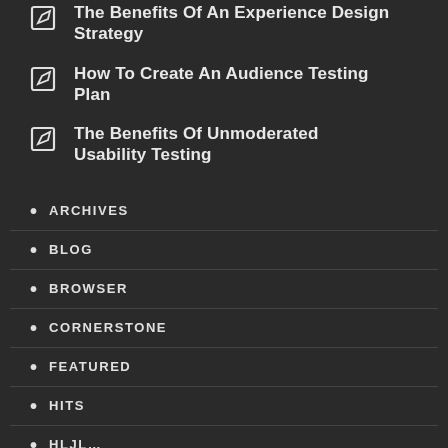The Benefits Of An Experience Design Strategy
How To Create An Audience Testing Plan
The Benefits Of Unmoderated Usability Testing
ARCHIVES
BLOG
BROWSER
CORNERSTONE
FEATURED
HITS